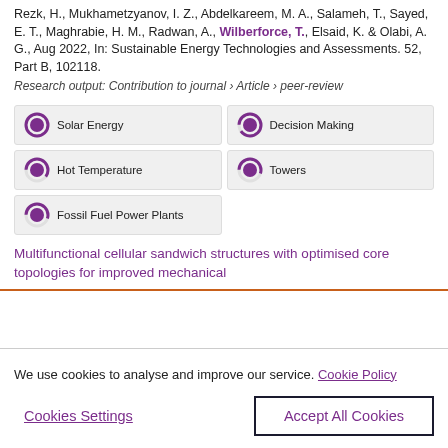Rezk, H., Mukhametzyanov, I. Z., Abdelkareem, M. A., Salameh, T., Sayed, E. T., Maghrabie, H. M., Radwan, A., Wilberforce, T., Elsaid, K. & Olabi, A. G., Aug 2022, In: Sustainable Energy Technologies and Assessments. 52, Part B, 102118.
Research output: Contribution to journal › Article › peer-review
[Figure (infographic): Five keyword badges with donut-style percentage icons: Solar Energy (100%), Decision Making (~90%), Hot Temperature (~60%), Towers (~55%), Fossil Fuel Power Plants (~55%)]
Multifunctional cellular sandwich structures with optimised core topologies for improved mechanical
We use cookies to analyse and improve our service. Cookie Policy
Cookies Settings
Accept All Cookies